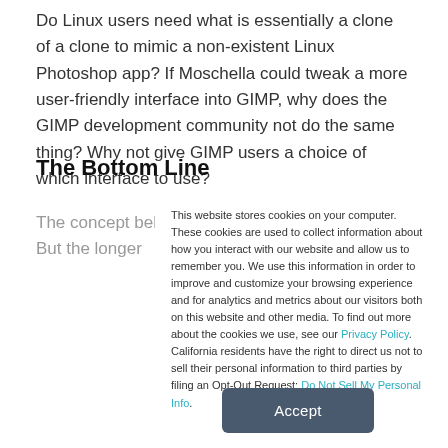Do Linux users need what is essentially a clone of a clone to mimic a non-existent Linux Photoshop app? If Moschella could tweak a more user-friendly interface into GIMP, why does the GIMP development community not do the same thing? Why not give GIMP users a choice of which interface to use?
The Bottom Line
The concept behind GimpShop is a worthy one. But the longer
This website stores cookies on your computer. These cookies are used to collect information about how you interact with our website and allow us to remember you. We use this information in order to improve and customize your browsing experience and for analytics and metrics about our visitors both on this website and other media. To find out more about the cookies we use, see our Privacy Policy. California residents have the right to direct us not to sell their personal information to third parties by filing an Opt-Out Request: Do Not Sell My Personal Info.
Accept